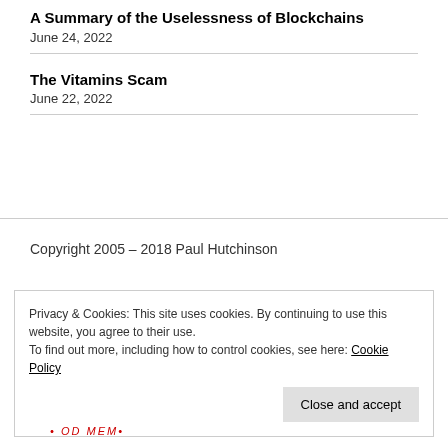A Summary of the Uselessness of Blockchains
June 24, 2022
The Vitamins Scam
June 22, 2022
Copyright 2005 – 2018 Paul Hutchinson
Privacy & Cookies: This site uses cookies. By continuing to use this website, you agree to their use.
To find out more, including how to control cookies, see here: Cookie Policy
Close and accept